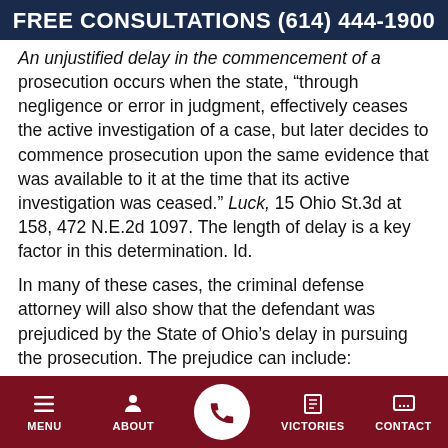FREE CONSULTATIONS (614) 444-1900
An unjustified delay in the commencement of a prosecution occurs when the state, “through negligence or error in judgment, effectively ceases the active investigation of a case, but later decides to commence prosecution upon the same evidence that was available to it at the time that its active investigation was ceased.” Luck, 15 Ohio St.3d at 158, 472 N.E.2d 1097. The length of delay is a key factor in this determination. Id.
In many of these cases, the criminal defense attorney will also show that the defendant was prejudiced by the State of Ohio’s delay in pursuing the prosecution. The prejudice can include:
1. The dissipation of evidence against the accused;
MENU  ABOUT  VICTORIES  CONTACT